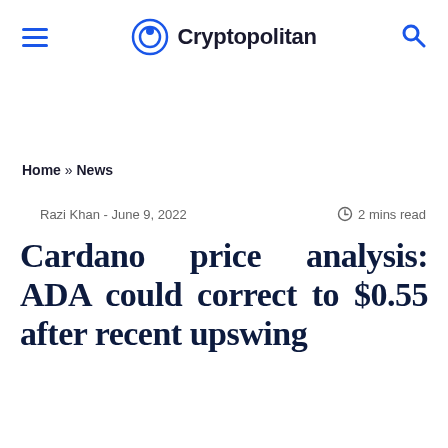Cryptopolitan
Home » News
Razi Khan  - June 9, 2022   2 mins read
Cardano price analysis: ADA could correct to $0.55 after recent upswing